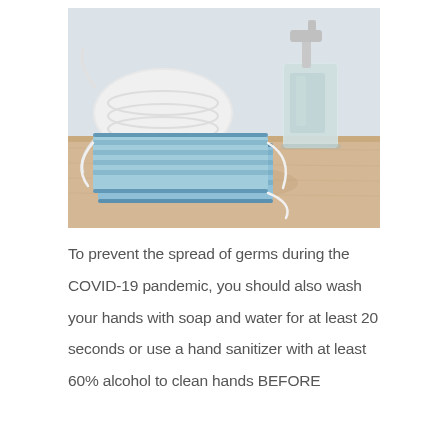[Figure (photo): Photo of blue surgical face masks and white N95 respirator masks lying on a light wood surface, next to a clear pump bottle of hand sanitizer against a light grey wall background.]
To prevent the spread of germs during the COVID-19 pandemic, you should also wash your hands with soap and water for at least 20 seconds or use a hand sanitizer with at least 60% alcohol to clean hands BEFORE